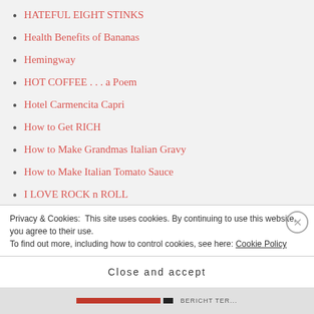HATEFUL EIGHT STINKS
Health Benefits of Bananas
Hemingway
HOT COFFEE . . . a Poem
Hotel Carmencita Capri
How to Get RICH
How to Make Grandmas Italian Gravy
How to Make Italian Tomato Sauce
I LOVE ROCK n ROLL
Isabelle s Favorite Songs
Joe Biden Picks Kamala Harris for VP Vice President Elections 2020
Privacy & Cookies: This site uses cookies. By continuing to use this website, you agree to their use. To find out more, including how to control cookies, see here: Cookie Policy
Close and accept